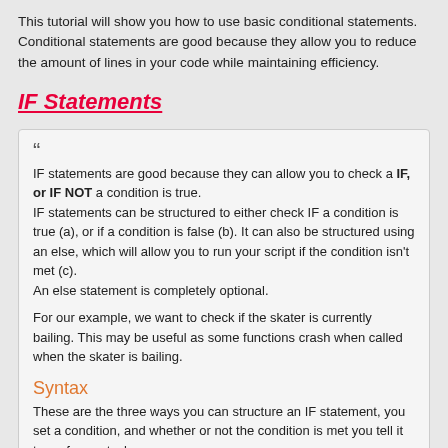This tutorial will show you how to use basic conditional statements. Conditional statements are good because they allow you to reduce the amount of lines in your code while maintaining efficiency.
IF Statements
" IF statements are good because they can allow you to check a IF, or IF NOT a condition is true. IF statements can be structured to either check IF a condition is true (a), or if a condition is false (b). It can also be structured using an else, which will allow you to run your script if the condition isn't met (c). An else statement is completely optional. For our example, we want to check if the skater is currently bailing. This may be useful as some functions crash when called when the skater is bailing.
Syntax
These are the three ways you can structure an IF statement, you set a condition, and whether or not the condition is met you tell it to perform a task. Syntax for the IF statement is very easy, it is structured as follows: